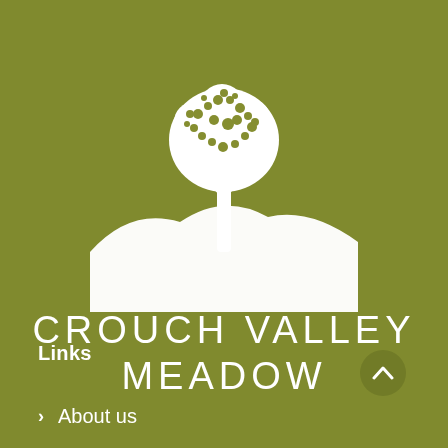[Figure (logo): Crouch Valley Meadow logo: white stylized tree above rolling hills/meadow silhouette on olive green background]
CROUCH VALLEY MEADOW
Links
About us